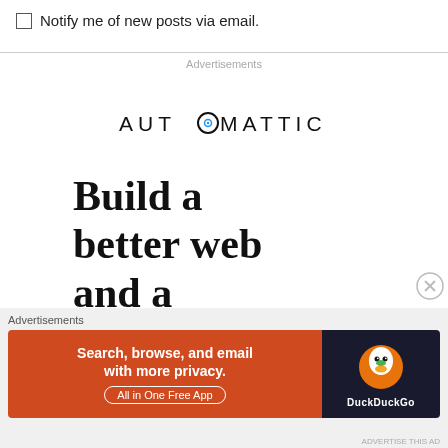Notify me of new posts via email.
Advertisements
[Figure (logo): Automattic logo with stylized O]
Build a better web and a better world
Advertisements
[Figure (infographic): DuckDuckGo advertisement banner: Search, browse, and email with more privacy. All in One Free App. DuckDuckGo logo on dark background.]